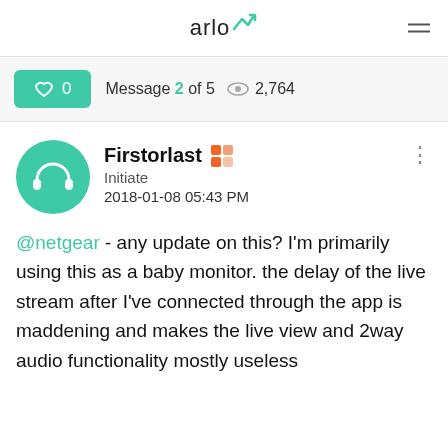arlo
♡ 0   Message 2 of 5   👁 2,764
Firstorlast
Initiate
2018-01-08 05:43 PM
@netgear - any update on this? I'm primarily using this as a baby monitor. the delay of the live stream after I've connected through the app is maddening and makes the live view and 2way audio functionality mostly useless